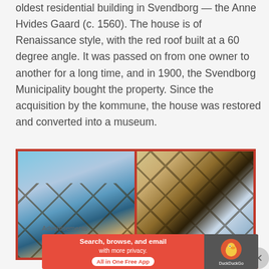oldest residential building in Svendborg — the Anne Hvides Gaard (c. 1560). The house is of Renaissance style, with the red roof built at a 60 degree angle. It was passed on from one owner to another for a long time, and in 1900, the Svendborg Municipality bought the property. Since the acquisition by the kommune, the house was restored and converted into a museum.
[Figure (photo): Two side-by-side photos of a traditional half-timbered building (Anne Hvides Gaard) in Svendborg, showing the characteristic dark timber framework against cream/yellow walls, photographed from below against a blue sky.]
Advertisements
[Figure (screenshot): DuckDuckGo advertisement banner with red background reading 'Search, browse, and email with more privacy. All in One Free App' with DuckDuckGo logo on the right.]